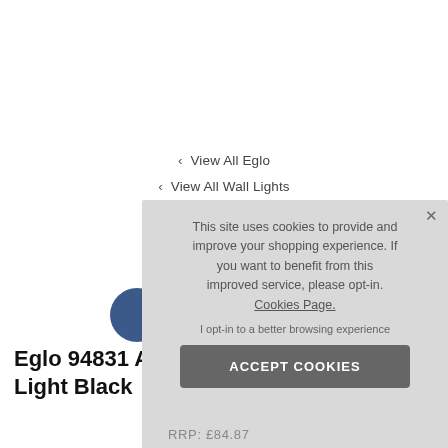< View All Eglo
< View All Wall Lights
[Figure (other): Partial blue circular button/icon]
Eglo 94831 A... Light Black
This site uses cookies to provide and improve your shopping experience. If you want to benefit from this improved service, please opt-in. Cookies Page.
I opt-in to a better browsing experience
ACCEPT COOKIES
RRP: £84.87